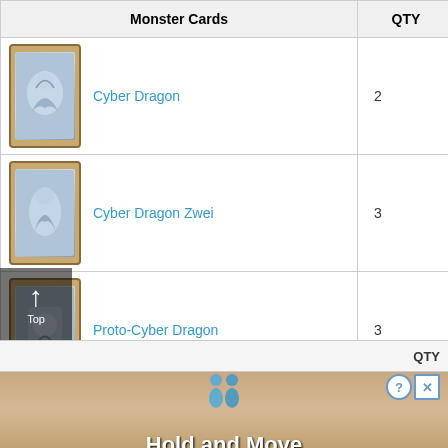| Monster Cards | QTY |
| --- | --- |
| Cyber Dragon | 2 |
| Cyber Dragon Zwei | 3 |
| Proto-Cyber Dragon | 3 |
| Cyber Valley | 2 |
| Cyber Laser Dragon | 1 |
[Figure (screenshot): Advertisement banner overlay showing 'Hold and Move' with two blue figures, close and help buttons (? and X), and a partially visible QTY label above it. A 'Top' back-to-top button is visible on the left side.]